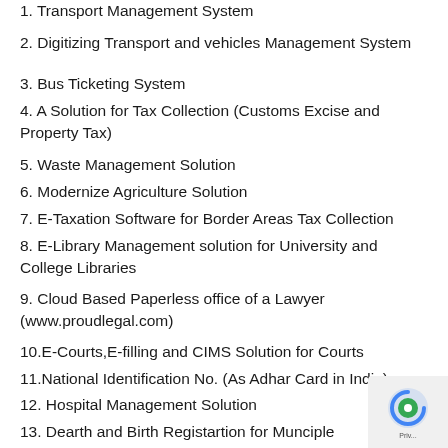1. Transport Management System
2. Digitizing Transport and vehicles Management System
3. Bus Ticketing System
4. A Solution for Tax Collection (Customs Excise and Property Tax)
5. Waste Management Solution
6. Modernize Agriculture Solution
7. E-Taxation Software for Border Areas Tax Collection
8. E-Library Management solution for University and College Libraries
9. Cloud Based Paperless office of a Lawyer (www.proudlegal.com)
10.E-Courts,E-filling and CIMS Solution for Courts
11.National Identification No. (As Adhar Card in India)
12. Hospital Management Solution
13. Dearth and Birth Registartion for Munciple